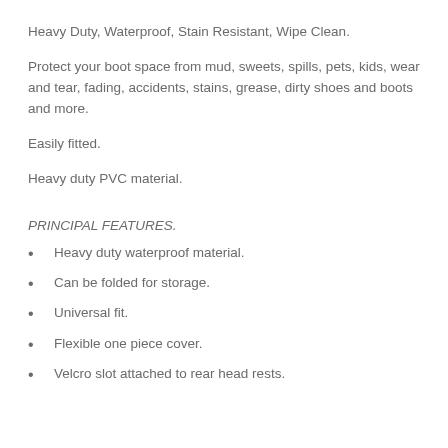Heavy Duty, Waterproof, Stain Resistant, Wipe Clean.
Protect your boot space from mud, sweets, spills, pets, kids, wear and tear, fading, accidents, stains, grease, dirty shoes and boots and more.
Easily fitted.
Heavy duty PVC material.
PRINCIPAL FEATURES.
Heavy duty waterproof material.
Can be folded for storage.
Universal fit.
Flexible one piece cover.
Velcro slot attached to rear head rests.